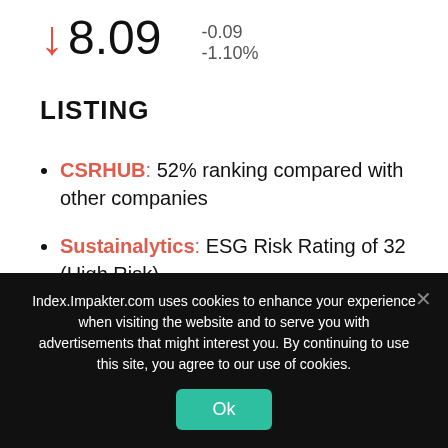↓8.09   -0.09   -1.10%
LISTING
CSRHUB: 52% ranking compared with other companies
Sustainalytics: ESG Risk Rating of 32 (High Risk)
Index.Impakter.com uses cookies to enhance your experience when visiting the website and to serve you with advertisements that might interest you. By continuing to use this site, you agree to our use of cookies.